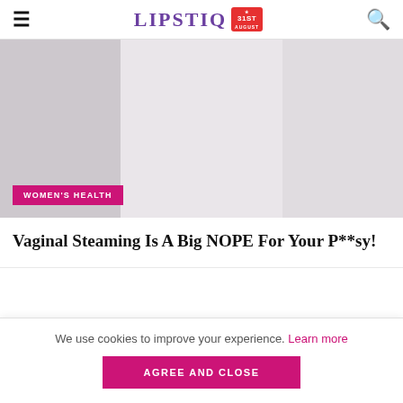LIPSTIQ — 31ST AUGUST
[Figure (photo): Hero image placeholder with light purple-grey tones, showing a blurred/muted background. Tag overlay reads WOMEN'S HEALTH in white on magenta background.]
Vaginal Steaming Is A Big NOPE For Your P**sy!
We use cookies to improve your experience. Learn more AGREE AND CLOSE